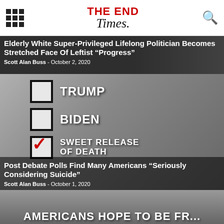THE END Times.
Elderly White Super-Privileged Lifelong Politician Becomes Stretched Face Of Leftist “Progress”
Scott Alan Buss  -  October 2, 2020
[Figure (illustration): Ballot-style checklist image with checkboxes next to TRUMP, BIDEN, and SWEET RELEASE OF DEATH, with the third option checked in red]
Post Debate Polls Find Many Americans “Seriously Considering Suicide”
Scott Alan Buss  -  October 1, 2020
[Figure (photo): Partial headline visible at bottom: AMERICANS HOPE TO BE FR...]